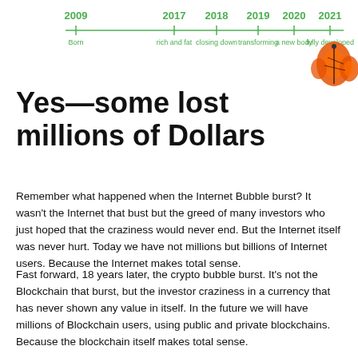[Figure (infographic): Timeline infographic showing blockchain/crypto evolution from 2009 to 2021 with stages: Born (2009), rich and fat (2017), closing down (2018), transforming (2019), a new body (2020), fully developed (2021). A monarch butterfly image appears at the right.]
Yes—some lost millions of Dollars
Remember what happened when the Internet Bubble burst? It wasn't the Internet that bust but the greed of many investors who just hoped that the craziness would never end. But the Internet itself was never hurt. Today we have not millions but billions of Internet users. Because the Internet makes total sense.
Fast forward, 18 years later, the crypto bubble burst. It's not the Blockchain that burst, but the investor craziness in a currency that has never shown any value in itself. In the future we will have millions of Blockchain users, using public and private blockchains. Because the blockchain itself makes total sense.